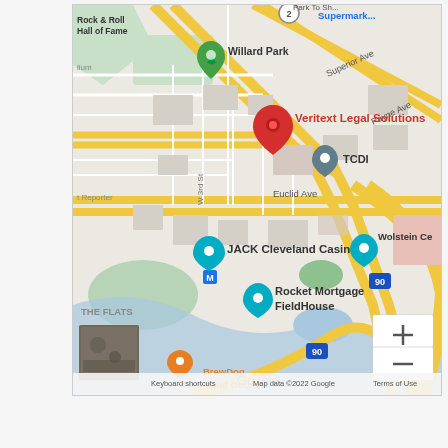[Figure (map): Google Maps screenshot showing downtown Cleveland, Ohio area. A red location pin is marked for 'Veritext Legal Solutions'. Nearby landmarks visible include Willard Park (green tree pin), TCDI (gray pin), JACK Cleveland Casino (teal pin), Rocket Mortgage FieldHouse (teal pin), Wolstein Center, THE FLATS neighborhood, BrewDog Cleveland Outpost, and Rock & Roll Hall of Fame. Streets include Superior Ave, Payne Ave, Euclid Ave, W 3rd St, and Interstate 90. Map controls (zoom in/out buttons) visible at bottom right. Google logo and attribution text at bottom: 'Keyboard shortcuts  Map data ©2022 Google  Terms of Use'. A street-view thumbnail image is in the bottom-left corner.]